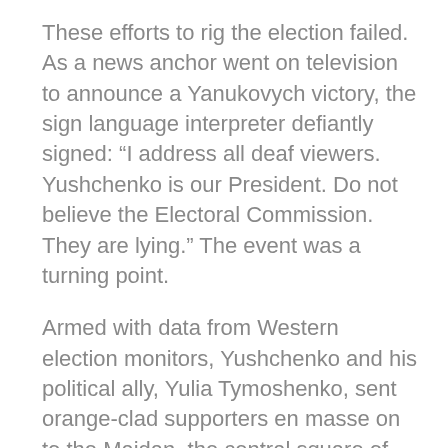These efforts to rig the election failed. As a news anchor went on television to announce a Yanukovych victory, the sign language interpreter defiantly signed: “I address all deaf viewers. Yushchenko is our President. Do not believe the Electoral Commission. They are lying.” The event was a turning point.
Armed with data from Western election monitors, Yushchenko and his political ally, Yulia Tymoshenko, sent orange-clad supporters en masse on to the Maidan, the central square of Kyiv, to protest the announced election results. The political upheaval that followed was called the Orange Revolution. Protestors on the Maidan forced a new, fair election that Yanukovych lost. Yushchenko was elevated to the presidency and